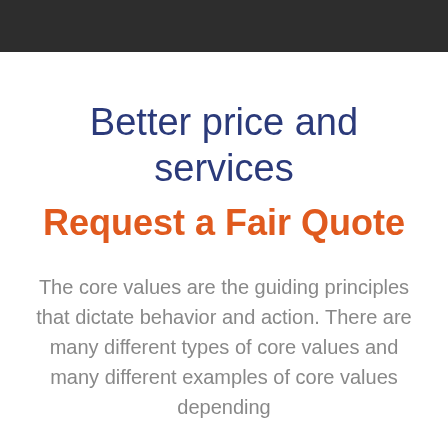Better price and services
Request a Fair Quote
The core values are the guiding principles that dictate behavior and action. There are many different types of core values and many different examples of core values depending